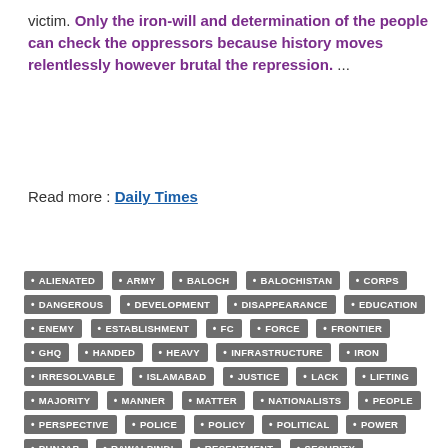victim. Only the iron-will and determination of the people can check the oppressors because history moves relentlessly however brutal the repression. ...
Read more : Daily Times
[Figure (infographic): Tag cloud with keyword labels in grey arrow/banner shapes: ALIENATED, ARMY, BALOCH, BALOCHISTAN, CORPS, DANGEROUS, DEVELOPMENT, DISAPPEARANCE, EDUCATION, ENEMY, ESTABLISHMENT, FC, FORCE, FRONTIER, GHQ, HANDED, HEAVY, INFRASTRUCTURE, IRON, IRRESOLVABLE, ISLAMABAD, JUSTICE, LACK, LIFTING, MAJORITY, MANNER, MATTER, NATIONALISTS, PEOPLE, PERSPECTIVE, POLICE, POLICY, POLITICAL, POWER, PUNJAB, RAWALPINDI, RESENTMENT, SECURITY, SENTIMENT, SEPARATIST, SINDH, TREND, WAITING, WILL]